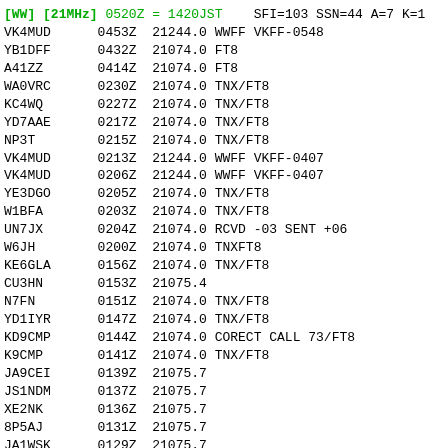[WW] [21MHz] 0520Z = 1420JST    SFI=103 SSN=44 A=7 K=1
VK4MUD      0453Z  21244.0 WWFF VKFF-0548
YB1DFF      0432Z  21074.0 FT8
A41ZZ       0414Z  21074.0 FT8
WA0VRC      0230Z  21074.0 TNX/FT8
KC4WQ       0227Z  21074.0 TNX/FT8
YD7AAE      0217Z  21074.0 TNX/FT8
NP3T        0215Z  21074.0 TNX/FT8
VK4MUD      0213Z  21244.0 WWFF VKFF-0407
VK4MUD      0206Z  21244.0 WWFF VKFF-0407
YE3DGO      0205Z  21074.0 TNX/FT8
W1BFA       0203Z  21074.0 TNX/FT8
UN7JX       0204Z  21074.0 RCVD -03 SENT +06
W6JH        0200Z  21074.0 TNXFT8
KE6GLA      0156Z  21074.0 TNX/FT8
CU3HN       0153Z  21075.4
N7FN        0151Z  21074.0 TNX/FT8
YD1IYR      0147Z  21074.0 TNX/FT8
KD9CMP      0144Z  21074.0 CORECT CALL 73/FT8
K9CMP       0141Z  21074.0 TNX/FT8
JA9CEI      0139Z  21075.7
JS1NDM      0137Z  21075.7
XE2NK       0136Z  21075.7
8P5AJ       0131Z  21075.7
JA1WSK      0129Z  21075.7
8J3IPA      0126Z  21075.7
KP4PUA      0125Z  21300.0
KP4PUA      0112Z  21300.0
K7OGW       0113Z  21074.0 ft8- thanks for the contact
JA7MG0      0111Z  21075.0